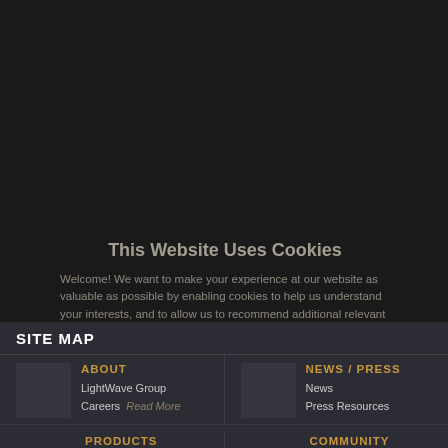This Website Uses Cookies
Welcome! We want to make your experience at our website as valuable as possible by enabling cookies to help us understand your interests, and to allow us to recommend additional relevant information. Should you choose not to enable cookies, that's okay we can still be friends, but we just won't be able to tailor your experience to your particular interests or location.
SITE MAP
ABOUT
LightWave Group
Careers
NEWS / PRESS
News
Press Resources
PRODUCTS
LightWave
COMMUNITY
Gallery